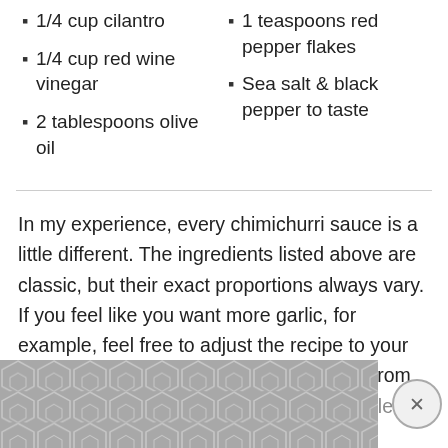1/4 cup cilantro
1/4 cup red wine vinegar
2 tablespoons olive oil
1 teaspoons red pepper flakes
Sea salt & black pepper to taste
In my experience, every chimichurri sauce is a little different. The ingredients listed above are classic, but their exact proportions always vary. If you feel like you want more garlic, for example, feel free to adjust the recipe to your own taste. The only thing I did differently from the traditional recipes is that I used much less oil to make it healthier — you'll ne...